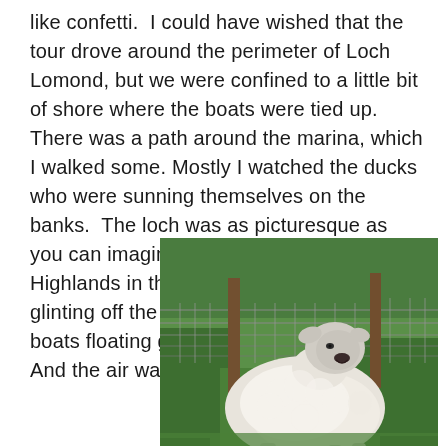like confetti.  I could have wished that the tour drove around the perimeter of Loch Lomond, but we were confined to a little bit of shore where the boats were tied up.  There was a path around the marina, which I walked some. Mostly I watched the ducks who were sunning themselves on the banks.  The loch was as picturesque as you can imagine—the beginnings of the Highlands in the background, the sun glinting off the water in golden waves, the boats floating gently around their anchors.  And the air was so fresh!
[Figure (photo): A white sheep resting on green grass near a wire fence with wooden fence posts, photographed close-up outdoors.]